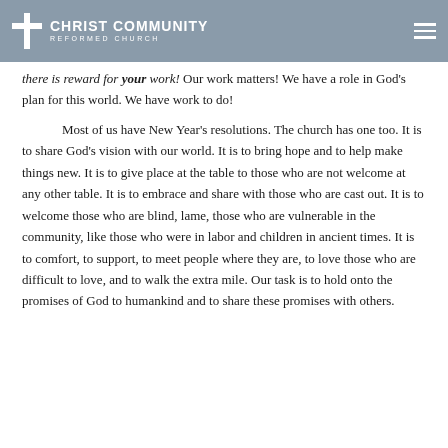Christ Community Reformed Church
there is reward for your work! Our work matters! We have a role in God’s plan for this world. We have work to do!

Most of us have New Year’s resolutions. The church has one too. It is to share God’s vision with our world. It is to bring hope and to help make things new. It is to give place at the table to those who are not welcome at any other table. It is to embrace and share with those who are cast out. It is to welcome those who are blind, lame, those who are vulnerable in the community, like those who were in labor and children in ancient times. It is to comfort, to support, to meet people where they are, to love those who are difficult to love, and to walk the extra mile. Our task is to hold onto the promises of God to humankind and to share these promises with others.